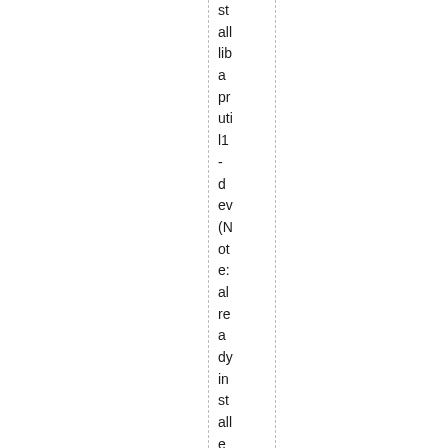stall lib a pr util1 - d ev (Note: al re a dy in st all e d on m y m ac hi n